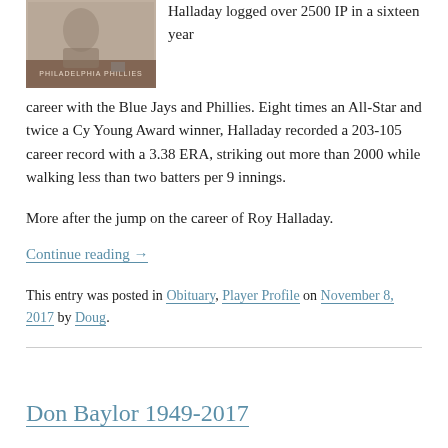[Figure (photo): Baseball card photo of Roy Halladay with Philadelphia Phillies text visible]
Halladay logged over 2500 IP in a sixteen year career with the Blue Jays and Phillies. Eight times an All-Star and twice a Cy Young Award winner, Halladay recorded a 203-105 career record with a 3.38 ERA, striking out more than 2000 while walking less than two batters per 9 innings.
More after the jump on the career of Roy Halladay.
Continue reading →
This entry was posted in Obituary, Player Profile on November 8, 2017 by Doug.
Don Baylor 1949-2017